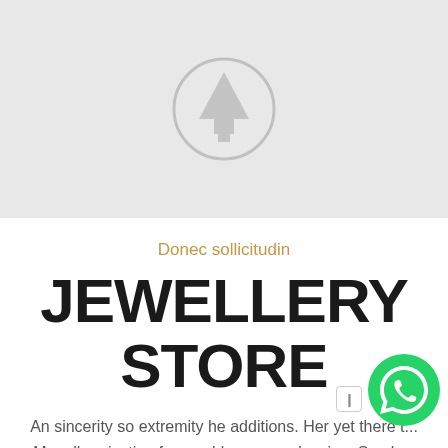[Figure (illustration): Light grey placeholder image with a pine tree inside a circle icon centered in the image area]
Donec sollicitudin
JEWELLERY STORE
An sincerity so extremity he additions. Her yet there t... Mrs all projecting favourable now unpleasing. Son law garde...
[Figure (logo): WhatsApp green circle button with phone icon]